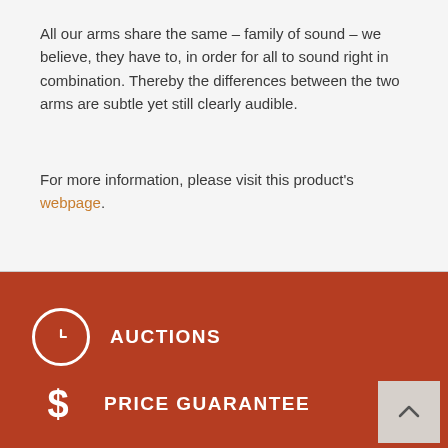All our arms share the same – family of sound – we believe, they have to, in order for all to sound right in combination. Thereby the differences between the two arms are subtle yet still clearly audible.
For more information, please visit this product's webpage.
AUCTIONS
PRICE GUARANTEE